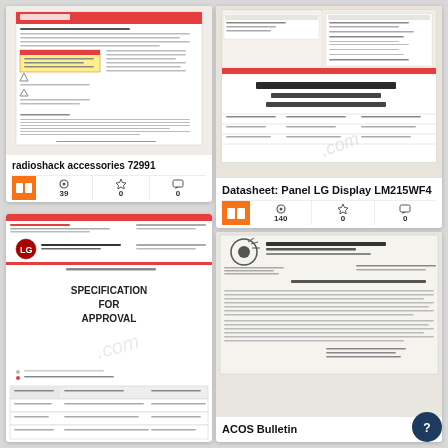[Figure (screenshot): Radioshack accessories 72991 document card with preview thumbnail of a RadioShack Notebook Computer Surge Protector document, showing book icon, 39 views, 0 stars, 0 comments]
[Figure (screenshot): Datasheet: Panel LG Display LM215WF4 document card with preview thumbnail of an LG datasheet specification document, showing book icon, 140 views, 0 stars, 0 comments]
[Figure (screenshot): ACOS Bulletin document card with preview thumbnail of a Centre for UFO Studies letter document, showing book icon and stats]
[Figure (screenshot): LG Display specification approval document preview card, bottom-left]
[Figure (illustration): Dark blue circular help/question mark button in bottom-right corner]